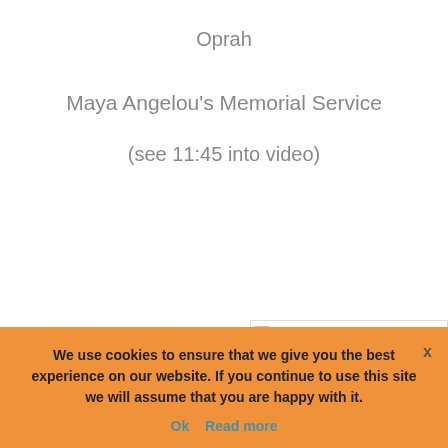Oprah
Maya Angelou's Memorial Service
(see 11:45 into video)
[Figure (photo): Broken image placeholder labeled 'images-6-1']
We use cookies to ensure that we give you the best experience on our website. If you continue to use this site we will assume that you are happy with it.
Ok   Read more